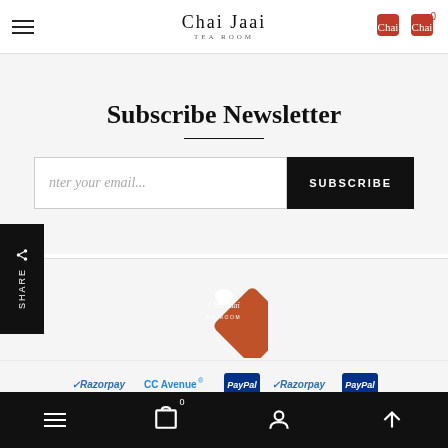Chai Jaai TEA ROOM — site header with hamburger menu and logo
Subscribe Newsletter
[Figure (screenshot): Email subscription form with text input 'Enter your email...' and black SUBSCRIBE button]
[Figure (logo): Chai Jaai Tea Room diamond-shaped orange logo with teapot icon]
[Figure (infographic): Payment provider logos: Razorpay, CCAvenue, PayPal, Razorpay, PayPal]
Bottom navigation bar with hamburger menu, cart (0), user icon, and up arrow